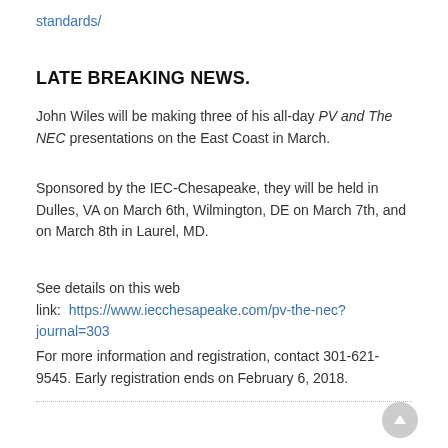standards/
LATE BREAKING NEWS.
John Wiles will be making three of his all-day PV and The NEC presentations on the East Coast in March.
Sponsored by the IEC-Chesapeake, they will be held in Dulles, VA on March 6th, Wilmington, DE on March 7th, and on March 8th in Laurel, MD.
See details on this web link:  https://www.iecchesapeake.com/pv-the-nec?journal=303
For more information and registration, contact 301-621-9545. Early registration ends on February 6, 2018.